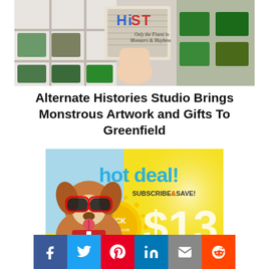[Figure (photo): Photo of a hand holding a decorative sign in a store with shelves displaying merchandise. Text on sign reads 'Only the Finest in Monsters & Mayhem'.]
Alternate Histories Studio Brings Monstrous Artwork and Gifts To Greenfield
[Figure (infographic): Advertisement banner showing a dog wearing sunglasses. Text: 'hot deal! SUBSCRIBE & SAVE! CLICK for discount code $13 ONE-YEAR SUBSCRIPTION']
[Figure (infographic): Social share buttons row: Facebook (blue), Twitter (light blue), Pinterest (red), LinkedIn (teal blue), Email (grey), Reddit (orange-red)]